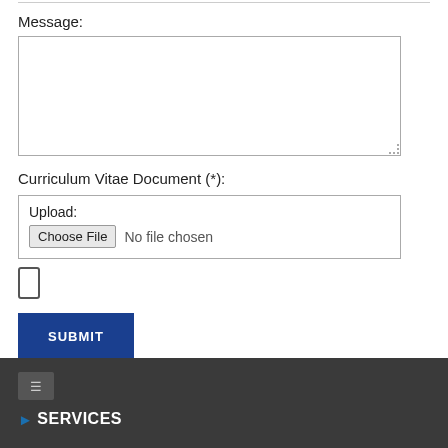Message:
[Figure (screenshot): Large empty textarea input box for message entry with dotted resize handle at bottom right]
Curriculum Vitae Document (*):
[Figure (screenshot): Upload box with 'Upload:' label, Choose File button and 'No file chosen' text]
[Figure (screenshot): Unchecked checkbox]
[Figure (screenshot): SUBMIT button in dark blue]
SERVICES